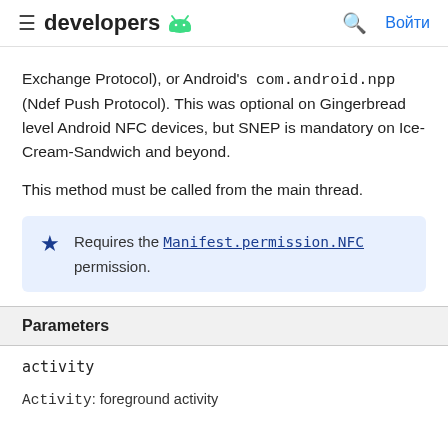developers
Exchange Protocol), or Android's `com.android.npp` (Ndef Push Protocol). This was optional on Gingerbread level Android NFC devices, but SNEP is mandatory on Ice-Cream-Sandwich and beyond.
This method must be called from the main thread.
Requires the Manifest.permission.NFC permission.
Parameters
activity
Activity: foreground activity